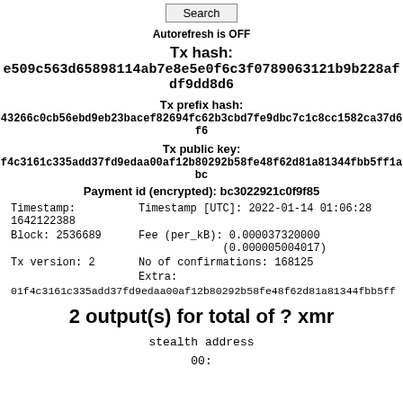Search
Autorefresh is OFF
Tx hash: e509c563d65898114ab7e8e5e0f6c3f0789063121b9b228afdf9dd8d6
Tx prefix hash: 43266c0cb56ebd9eb23bacef82694fc62b3cbd7fe9dbc7c1c8cc1582ca37d6f6
Tx public key: f4c3161c335add37fd9edaa00af12b80292b58fe48f62d81a81344fbb5ff1abc
Payment id (encrypted): bc3022921c0f9f85
| Timestamp:
1642122388 | Timestamp [UTC]: 2022-01-14 01:06:28 |
| Block: 2536689 | Fee (per_kB): 0.000037320000
(0.000005004017) |
| Tx version: 2 | No of confirmations: 168125 |
|  | Extra:
01f4c3161c335add37fd9edaa00af12b80292b58fe48f62d81a81344fbb5ff |
2 output(s) for total of ? xmr
stealth address
00: